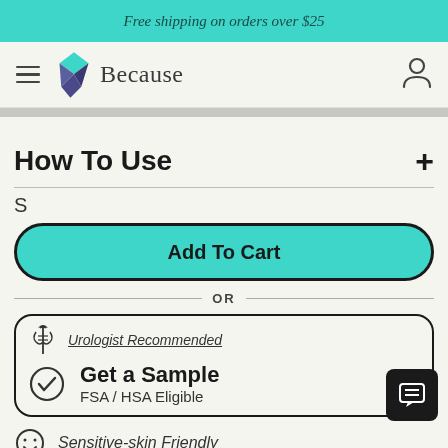Free shipping on orders over $25
[Figure (logo): Because brand logo with geometric diamond shape and wordmark]
How To Use
S
Add To Cart
OR
Urologist Recommended
Get a Sample
FSA / HSA Eligible
Sensitive-skin Friendly